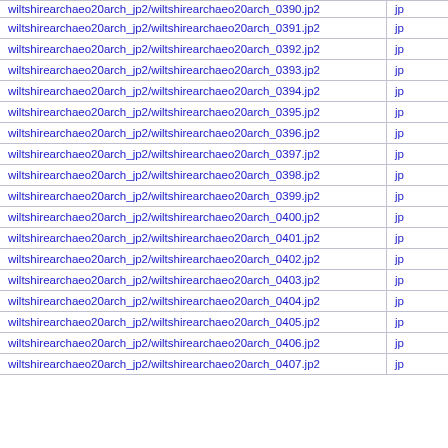| filename | type |
| --- | --- |
| wiltshirearchaeo20arch_jp2/wiltshirearchaeo20arch_0390.jp2 | jp |
| wiltshirearchaeo20arch_jp2/wiltshirearchaeo20arch_0391.jp2 | jp |
| wiltshirearchaeo20arch_jp2/wiltshirearchaeo20arch_0392.jp2 | jp |
| wiltshirearchaeo20arch_jp2/wiltshirearchaeo20arch_0393.jp2 | jp |
| wiltshirearchaeo20arch_jp2/wiltshirearchaeo20arch_0394.jp2 | jp |
| wiltshirearchaeo20arch_jp2/wiltshirearchaeo20arch_0395.jp2 | jp |
| wiltshirearchaeo20arch_jp2/wiltshirearchaeo20arch_0396.jp2 | jp |
| wiltshirearchaeo20arch_jp2/wiltshirearchaeo20arch_0397.jp2 | jp |
| wiltshirearchaeo20arch_jp2/wiltshirearchaeo20arch_0398.jp2 | jp |
| wiltshirearchaeo20arch_jp2/wiltshirearchaeo20arch_0399.jp2 | jp |
| wiltshirearchaeo20arch_jp2/wiltshirearchaeo20arch_0400.jp2 | jp |
| wiltshirearchaeo20arch_jp2/wiltshirearchaeo20arch_0401.jp2 | jp |
| wiltshirearchaeo20arch_jp2/wiltshirearchaeo20arch_0402.jp2 | jp |
| wiltshirearchaeo20arch_jp2/wiltshirearchaeo20arch_0403.jp2 | jp |
| wiltshirearchaeo20arch_jp2/wiltshirearchaeo20arch_0404.jp2 | jp |
| wiltshirearchaeo20arch_jp2/wiltshirearchaeo20arch_0405.jp2 | jp |
| wiltshirearchaeo20arch_jp2/wiltshirearchaeo20arch_0406.jp2 | jp |
| wiltshirearchaeo20arch_jp2/wiltshirearchaeo20arch_0407.jp2 | jp |